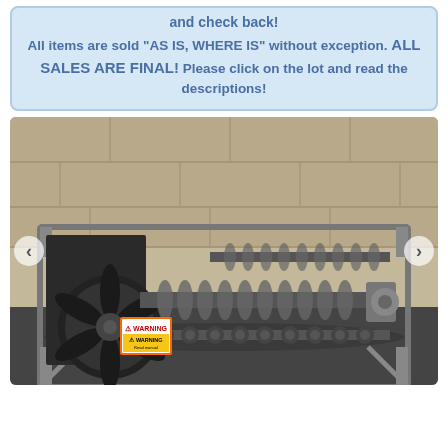and check back!
All items are sold "AS IS, WHERE IS" without exception. ALL SALES ARE FINAL! Please click on the lot and read the descriptions!
[Figure (photo): Industrial machine on a metal skid frame with auger/screw conveyor mechanism, black fan/impeller, and multiple roller assemblies, photographed outdoors on asphalt with concrete wall in background. Navigation arrows visible on left and right sides.]